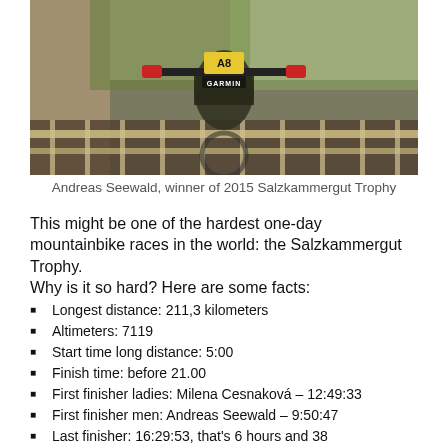[Figure (photo): Cyclist from behind on a mountain bike with race number A8, Garmin device visible, at the Salzkammergut Trophy 2015]
Andreas Seewald, winner of 2015 Salzkammergut Trophy
This might be one of the hardest one-day mountainbike races in the world: the Salzkammergut Trophy.
Why is it so hard? Here are some facts:
Longest distance: 211,3 kilometers
Altimeters: 7119
Start time long distance: 5:00
Finish time: before 21.00
First finisher ladies: Milena Cesnaková – 12:49:33
First finisher men: Andreas Seewald – 9:50:47
Last finisher: 16:29:53, that's 6 hours and 38